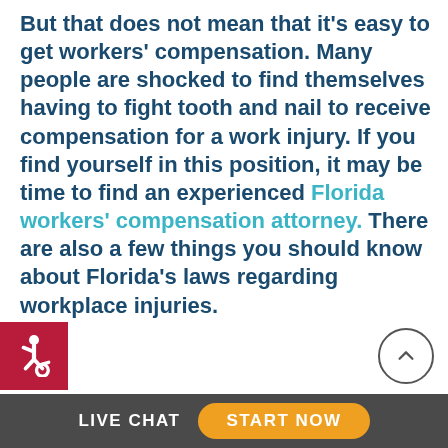But that does not mean that it's easy to get workers' compensation. Many people are shocked to find themselves having to fight tooth and nail to receive compensation for a work injury. If you find yourself in this position, it may be time to find an experienced Florida workers' compensation attorney. There are also a few things you should know about Florida's laws regarding workplace injuries.
[Figure (other): Accessibility icon — white wheelchair symbol on red square background, bottom left corner]
[Figure (other): Scroll-to-top button — upward arrow in circular border, bottom right area]
LIVE CHAT   START NOW